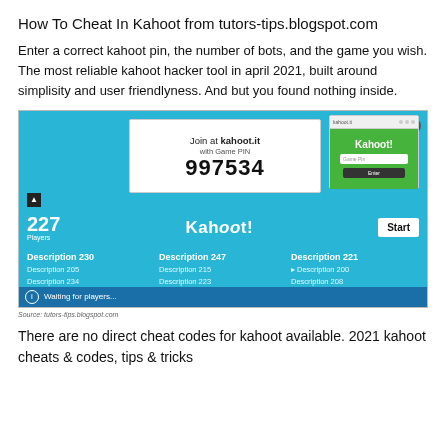How To Cheat In Kahoot from tutors-tips.blogspot.com
Enter a correct kahoot pin, the number of bots, and the game you wish. The most reliable kahoot hacker tool in april 2021, built around simplisity and user friendlyness. And but you found nothing inside.
[Figure (screenshot): Screenshot of Kahoot game lobby showing Game PIN 997534, 227 players, and a list of player descriptions]
Source: tutors-tips.blogspot.com
There are no direct cheat codes for kahoot available. 2021 kahoot cheats & codes, tips & tricks